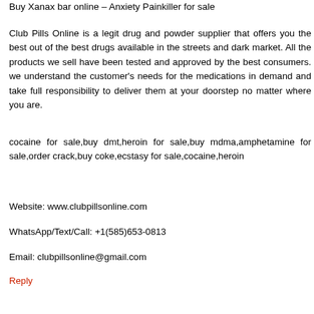Buy Xanax bar online – Anxiety Painkiller for sale
Club Pills Online is a legit drug and powder supplier that offers you the best out of the best drugs available in the streets and dark market. All the products we sell have been tested and approved by the best consumers. we understand the customer's needs for the medications in demand and take full responsibility to deliver them at your doorstep no matter where you are.
cocaine for sale,buy dmt,heroin for sale,buy mdma,amphetamine for sale,order crack,buy coke,ecstasy for sale,cocaine,heroin
Website: www.clubpillsonline.com
WhatsApp/Text/Call: +1(585)653-0813
Email: clubpillsonline@gmail.com
Reply